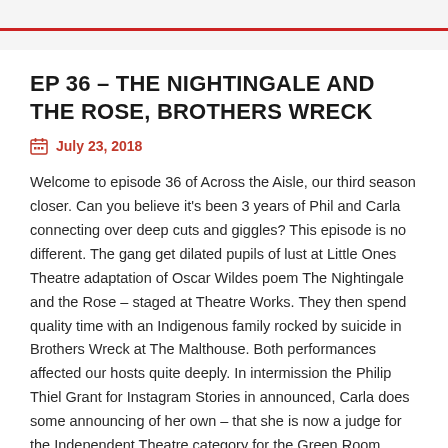EP 36 – THE NIGHTINGALE AND THE ROSE, BROTHERS WRECK
July 23, 2018
Welcome to episode 36 of Across the Aisle, our third season closer. Can you believe it's been 3 years of Phil and Carla connecting over deep cuts and giggles? This episode is no different. The gang get dilated pupils of lust at Little Ones Theatre adaptation of Oscar Wildes poem The Nightingale and the Rose – staged at Theatre Works. They then spend quality time with an Indigenous family rocked by suicide in Brothers Wreck at The Malthouse. Both performances affected our hosts quite deeply. In intermission the Philip Thiel Grant for Instagram Stories in announced, Carla does some announcing of her own – that she is now a judge for the Independent Theatre category for the Green Room Awards. MIFF strategies are discussed, as is MICMC (no it's not roman numerals like